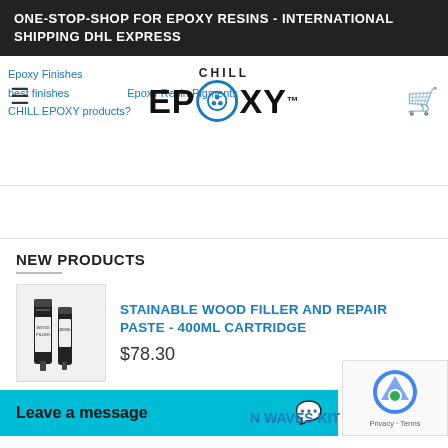ONE-STOP-SHOP FOR EPOXY RESINS - INTERNATIONAL SHIPPING DHL EXPRESS
[Figure (logo): Chill Epoxy logo with hamburger menu, cart icon, and blue navigation links overlay]
NEW PRODUCTS
[Figure (photo): Product image of Stainable Wood Filler and Repair Paste 400ml Cartridge]
STAINABLE WOOD FILLER AND REPAIR PASTE - 400ML CARTRIDGE
$78.30
Leave a message
N WAVES KIT